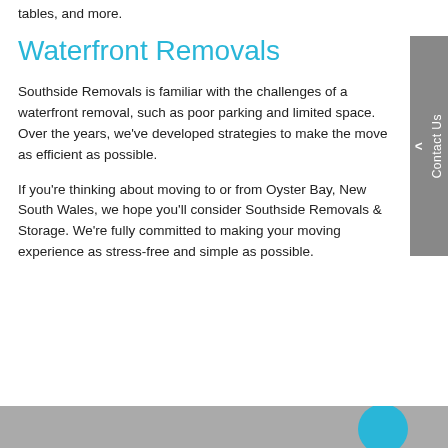tables, and more.
Waterfront Removals
Southside Removals is familiar with the challenges of a waterfront removal, such as poor parking and limited space. Over the years, we've developed strategies to make the move as efficient as possible.
If you're thinking about moving to or from Oyster Bay, New South Wales, we hope you'll consider Southside Removals & Storage. We're fully committed to making your moving experience as stress-free and simple as possible.
[Figure (photo): Bottom strip showing a grey/blue background image with a blue circle element on the right side]